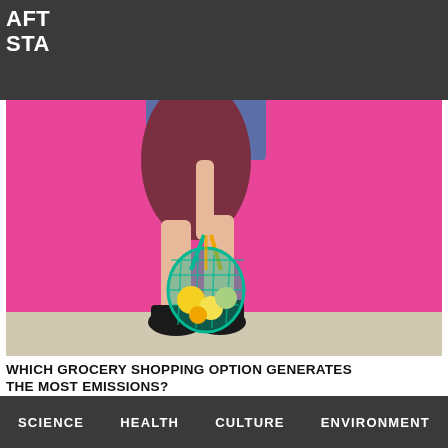AFT
STA
[Figure (photo): Person walking in front of a bright pink wall, wearing a denim jacket and dark skirt, carrying a green mesh/net shopping bag filled with fruits and vegetables, wearing black ankle boots]
WHICH GROCERY SHOPPING OPTION GENERATES THE MOST EMISSIONS?
[Figure (photo): Close-up blurred image of food items, appears to show berries and other produce on a dark background]
SCIENCE    HEALTH    CULTURE    ENVIRONMENT